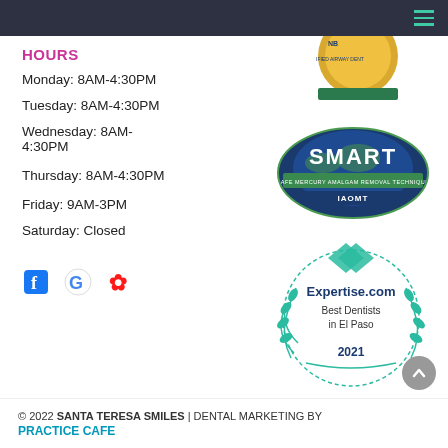HOURS
Monday: 8AM-4:30PM
Tuesday: 8AM-4:30PM
Wednesday: 8AM-4:30PM
Thursday: 8AM-4:30PM
Friday: 9AM-3PM
Saturday: Closed
[Figure (logo): Social media icons: Facebook, Google, Yelp]
[Figure (logo): Certified Airway Dentist gold seal badge (partially visible at top)]
[Figure (logo): SMART - Safe Mercury Amalgam Removal Technique - IAOMT badge]
[Figure (logo): Expertise.com Best Dentists in El Paso 2021 badge]
© 2022 SANTA TERESA SMILES | DENTAL MARKETING BY PRACTICE CAFE